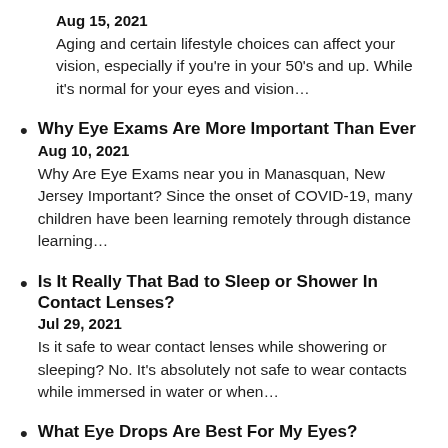Aug 15, 2021
Aging and certain lifestyle choices can affect your vision, especially if you’re in your 50’s and up. While it’s normal for your eyes and vision…
Why Eye Exams Are More Important Than Ever
Aug 10, 2021
Why Are Eye Exams near you in Manasquan, New Jersey Important? Since the onset of COVID-19, many children have been learning remotely through distance learning…
Is It Really That Bad to Sleep or Shower In Contact Lenses?
Jul 29, 2021
Is it safe to wear contact lenses while showering or sleeping? No. It’s absolutely not safe to wear contacts while immersed in water or when…
What Eye Drops Are Best For My Eyes?
Jul 20, 2021